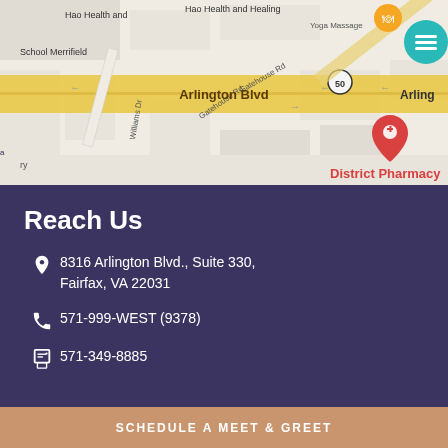[Figure (map): Google Maps screenshot showing District Pharmacy location near 8316 Arlington Blvd, Fairfax, VA. Shows Arlington Blvd (Route 50), Gatehouse Rd, Williams Dr, with a red location pin labeled District Pharmacy.]
Reach Us
8316 Arlington Blvd., Suite 330, Fairfax, VA 22031
571-999-WEST (9378)
571-349-8885
SCHEDULE A MEET & GREET